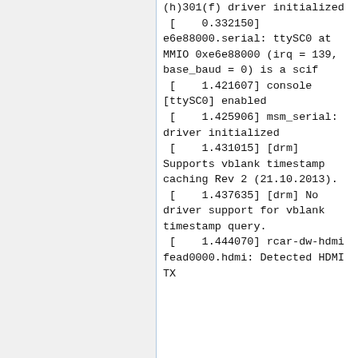(h)301(f) driver initialized
 [    0.332150] e6e88000.serial: ttySC0 at MMIO 0xe6e88000 (irq = 139, base_baud = 0) is a scif
 [    1.421607] console [ttySC0] enabled
 [    1.425906] msm_serial: driver initialized
 [    1.431015] [drm] Supports vblank timestamp caching Rev 2 (21.10.2013).
 [    1.437635] [drm] No driver support for vblank timestamp query.
 [    1.444070] rcar-dw-hdmi fead0000.hdmi: Detected HDMI TX controller v1.31a with